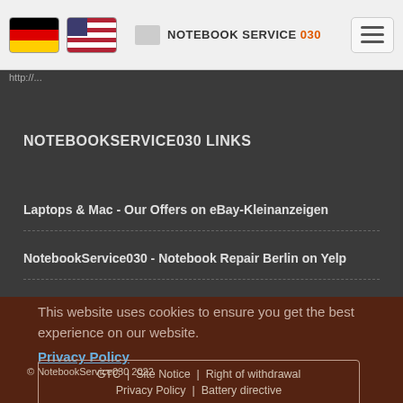NOTEBOOK SERVICE 030 — Navigation header with German and US flags and hamburger menu
http://...
NOTEBOOKSERVICE030 LINKS
Laptops & Mac - Our Offers on eBay-Kleinanzeigen
NotebookService030 - Notebook Repair Berlin on Yelp
This website uses cookies to ensure you get the best experience on our website.
Privacy Policy
© NotebookService030 2022
GTC | Site Notice | Right of withdrawal
Privacy Policy | Battery directive
Got it!